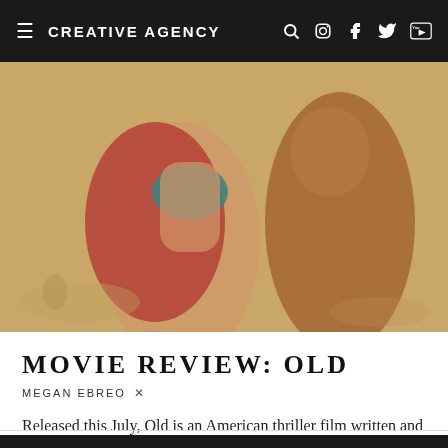CREATIVE AGENCY
[Figure (photo): Two people on a beach — a woman in a blue bikini top with a red jacket and a shirtless man, shot from mid-torso, warm sandy beach tones]
MOVIE REVIEW: OLD
MEGAN EBREO
Released this July, Old is an American thriller film written and directed by director M. Night Shyamalan. The film tells the story of Guy and Prisca Cappa takin...
CULTURE   ENTERTAINMENT